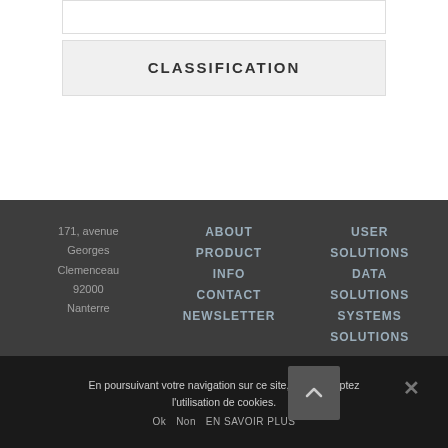CLASSIFICATION
171, avenue Georges Clemenceau
92000
Nanterre
ABOUT
PRODUCT
INFO
CONTACT
NEWSLETTER
USER SOLUTIONS
DATA SOLUTIONS
SYSTEMS SOLUTIONS
En poursuivant votre navigation sur ce site, vous acceptez l'utilisation de cookies.
Ok   Non   EN SAVOIR PLUS